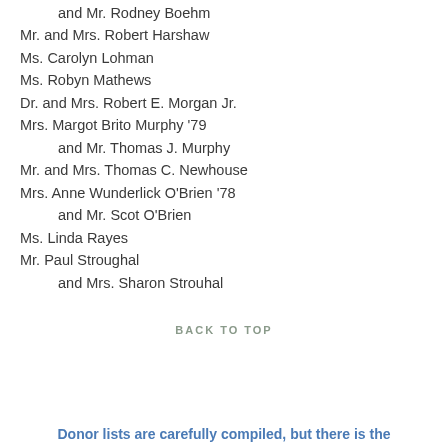and Mr. Rodney Boehm
Mr. and Mrs. Robert Harshaw
Ms. Carolyn Lohman
Ms. Robyn Mathews
Dr. and Mrs. Robert E. Morgan Jr.
Mrs. Margot Brito Murphy '79
and Mr. Thomas J. Murphy
Mr. and Mrs. Thomas C. Newhouse
Mrs. Anne Wunderlick O'Brien '78
and Mr. Scot O'Brien
Ms. Linda Rayes
Mr. Paul Stroughal
and Mrs. Sharon Strouhal
BACK TO TOP
Donor lists are carefully compiled, but there is the